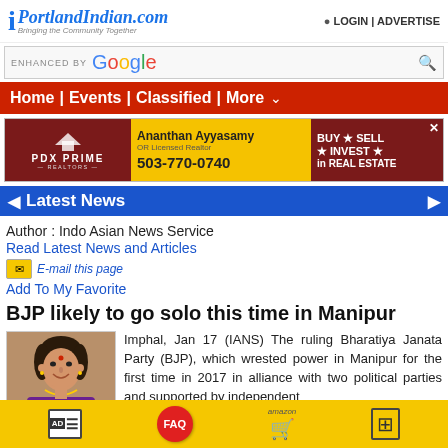iPortlandIndian.com — Bringing the Community Together | LOGIN | ADVERTISE
ENHANCED BY Google
Home | Events | Classified | More
[Figure (photo): PDX Prime Realtors ad featuring Ananthan Ayyasamy, OR Licensed Realtor. Phone: 503-770-0740. BUY * SELL * INVEST * in REAL ESTATE]
Latest News
Author : Indo Asian News Service
Read Latest News and Articles
E-mail this page
Add To My Favorite
BJP likely to go solo this time in Manipur
[Figure (photo): Photo of a woman in purple attire, posed with hand near face, smiling]
Imphal, Jan 17 (IANS) The ruling Bharatiya Janata Party (BJP), which wrested power in Manipur for the first time in 2017 in alliance with two political parties and supported by independent